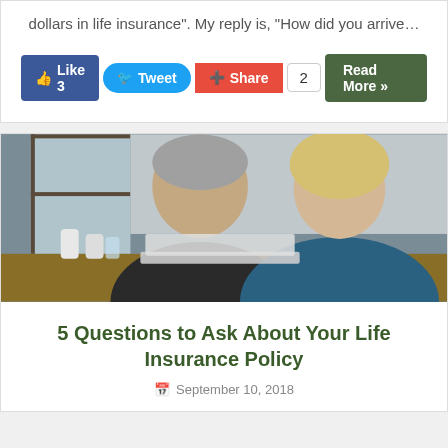dollars in life insurance". My reply is, "How did you arrive…
[Figure (other): Social action buttons: Like 3, Tweet, Share, count 2, Read More]
[Figure (photo): An older man and a woman looking at a laptop together, with medicine bottles visible on the table]
5 Questions to Ask About Your Life Insurance Policy
September 10, 2018